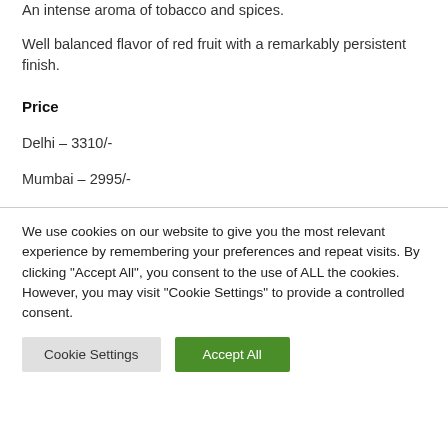An intense aroma of tobacco and spices.
Well balanced flavor of red fruit with a remarkably persistent finish.
Price
Delhi – 3310/-
Mumbai – 2995/-
We use cookies on our website to give you the most relevant experience by remembering your preferences and repeat visits. By clicking "Accept All", you consent to the use of ALL the cookies. However, you may visit "Cookie Settings" to provide a controlled consent.